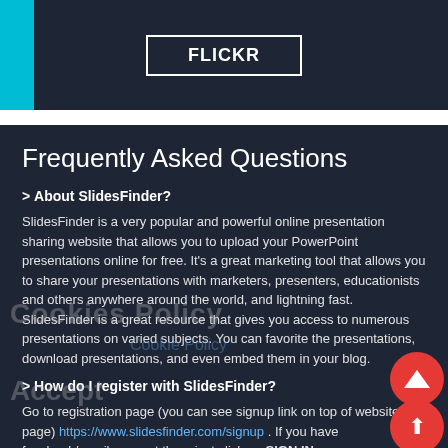[Figure (other): Top dark banner with cyan left bar and FLICKR button outline]
Frequently Asked Questions
> About SlidesFinder?
SlidesFinder is a very popular and powerful online presentation sharing website that allows you to upload your PowerPoint presentations online for free. It's a great marketing tool that allows you to share your presentations with marketers, presenters, educationists and others anywhere around the world, and lightning fast. SlidesFinder is a great resource that gives you access to numerous presentations on varied subjects. You can favorite the presentations, download presentations, and even embed them in your blog.
> How do I register with SlidesFinder?
Go to registration page (you can see signup link on top of website page) https://www.slidesfinder.com/signup . If you have facebook/gmail account them just click on SIGN IN